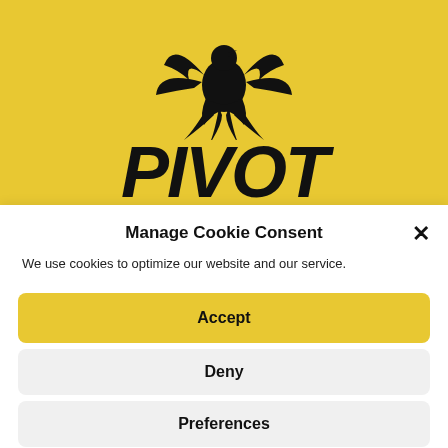[Figure (logo): Pivot brand logo: phoenix bird silhouette in black above bold italic PIVOT text on yellow background]
Manage Cookie Consent
We use cookies to optimize our website and our service.
Accept
Deny
Preferences